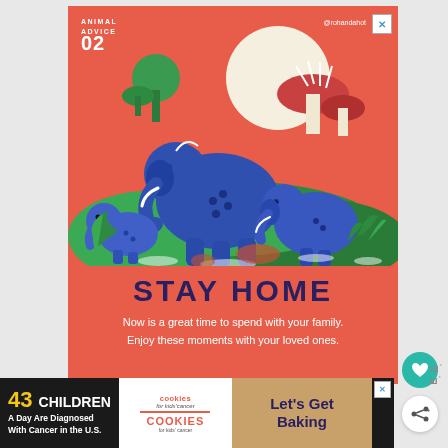[Figure (illustration): Illustrated card with coral/red background showing blue elephants of different sizes surrounded by green tropical plants, mushrooms, and a cream sun. Text overlay reads 'ANIMAL ADVICE 02' in top left, '@rohandahot' handle in top right. Large bold text 'STAY HOME' in dark navy below the illustration, followed by white text 'Now is a great time to spend with your family. Enjoy these moments with your loved ones.']
[Figure (infographic): Bottom advertisement banner on black background featuring '43 CHILDREN A Day Are Diagnosed With Cancer in the U.S.' in yellow and white text, Cookies for Kids' Cancer logo in center, and 'Let's Get Baking' text on a cookie-textured background on the right.]